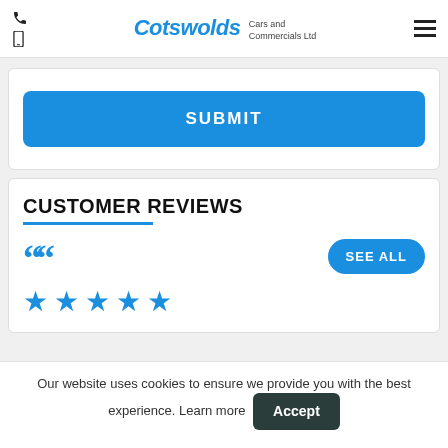Cotswolds Cars and Commercials Ltd
SUBMIT
CUSTOMER REVIEWS
SEE ALL
★★★★★
Our website uses cookies to ensure we provide you with the best experience. Learn more
Accept